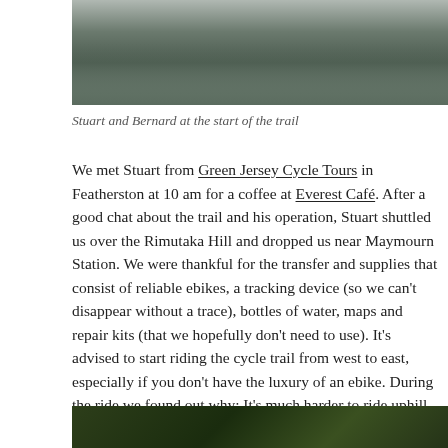[Figure (photo): Bottom portion of two people standing with a bicycle, wearing colorful shoes and outdoor gear, on a gravel path]
Stuart and Bernard at the start of the trail
We met Stuart from Green Jersey Cycle Tours in Featherston at 10 am for a coffee at Everest Café. After a good chat about the trail and his operation, Stuart shuttled us over the Rimutaka Hill and dropped us near Maymourn Station. We were thankful for the transfer and supplies that consist of reliable ebikes, a tracking device (so we can't disappear without a trace), bottles of water, maps and repair kits (that we hopefully don't need to use). It's advised to start riding the cycle trail from west to east, especially if you don't have the luxury of an ebike. During the ride we found out why: It's much harder to ride uphill from the other end.
[Figure (photo): Dense green forest/ferns at the start of a trail, viewed from above]